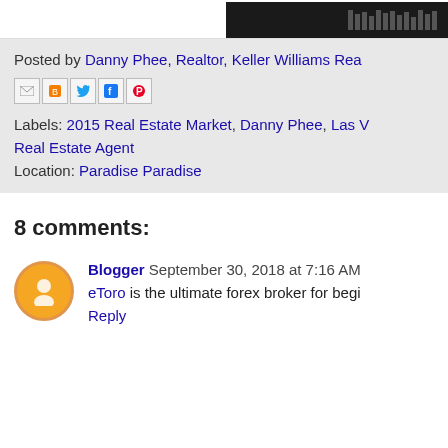[Figure (photo): Top image bar with dark/black image strip visible at top of page]
Posted by Danny Phee, Realtor, Keller Williams Rea...
[Figure (other): Social share icons: email, blogger, twitter, facebook, pinterest]
Labels: 2015 Real Estate Market, Danny Phee, Las V... Real Estate Agent
Location: Paradise Paradise
8 comments:
Blogger September 30, 2018 at 7:16 AM
eToro is the ultimate forex broker for begi...
Reply